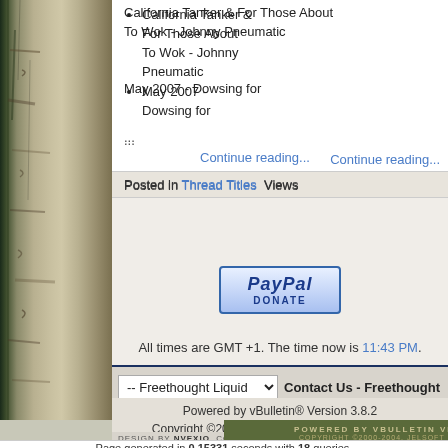California Tanker & For Those About To Wok - Johnny Pneumatic
May 2007 - Dowsing for
...
Continue reading...
Posted in Thread Titles  Views
[Figure (logo): PayPal Donate button]
All times are GMT +1. The time now is 11:43 PM.
-- Freethought Liquid  Contact Us - Freethought
Powered by vBulletin® Version 3.8.2
Copyright ©2000 - 2022, Jelsoft Enterprises Ltd.
DESIGN BY NVEXIO. COPYRIGHT ©2003-2004. MAINTAINED BY THE FREETHOUGHT
Page generated in 0.15331 seconds with 18 queries.